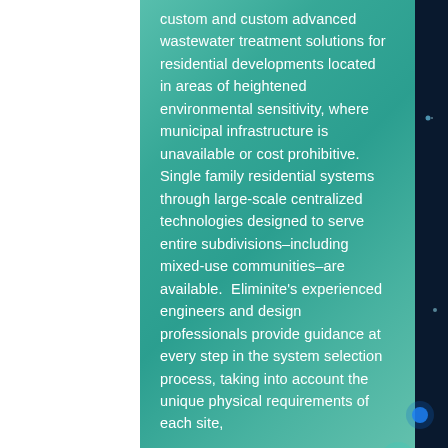custom and custom advanced wastewater treatment solutions for residential developments located in areas of heightened environmental sensitivity, where municipal infrastructure is unavailable or cost prohibitive. Single family residential systems through large-scale centralized technologies designed to serve entire subdivisions–including mixed-use communities–are available. Eliminite's experienced engineers and design professionals provide guidance at every step in the system selection process, taking into account the unique physical requirements of each site,